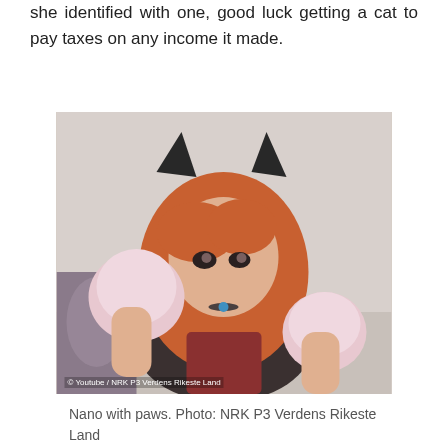she identified with one, good luck getting a cat to pay taxes on any income it made.
[Figure (photo): A young woman dressed as a cat character, wearing black cat ears headband and large pink fluffy paw mittens, with long orange/red hair, posing with paws raised toward camera. A manga/anime pillow is visible on the left side.]
Nano with paws. Photo: NRK P3 Verdens Rikeste Land